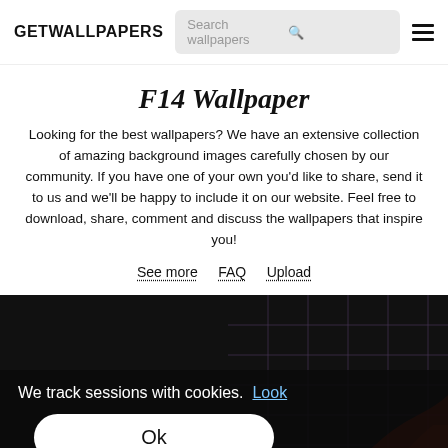GETWALLPAPERS
F14 Wallpaper
Looking for the best wallpapers? We have an extensive collection of amazing background images carefully chosen by our community. If you have one of your own you'd like to share, send it to us and we'll be happy to include it on our website. Feel free to download, share, comment and discuss the wallpapers that inspire you!
See more  FAQ  Upload
[Figure (screenshot): Dark background area showing a wallpaper with grid lines pattern and partial view of colorful graphic at bottom right, overlaid with a cookie consent banner.]
We track sessions with cookies. Look
Ok